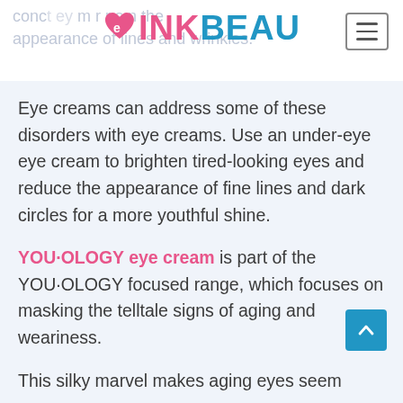INKBEAU (logo with hamburger menu)
conc t ey m r r s n the appearance of lines and wrinkles.
Eye creams can address some of these disorders with eye creams. Use an under-eye eye cream to brighten tired-looking eyes and reduce the appearance of fine lines and dark circles for a more youthful shine.
YOU·OLOGY eye cream is part of the YOU·OLOGY focused range, which focuses on masking the telltale signs of aging and weariness.
This silky marvel makes aging eyes seem